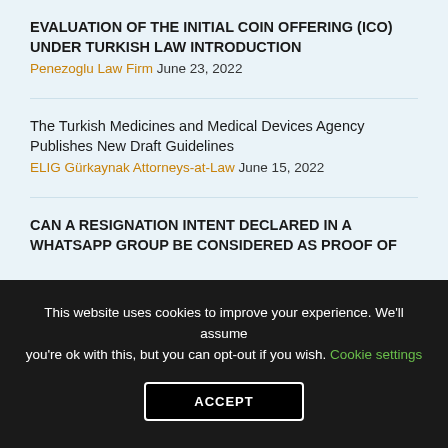EVALUATION OF THE INITIAL COIN OFFERING (ICO) UNDER TURKISH LAW INTRODUCTION
Penezoglu Law Firm June 23, 2022
The Turkish Medicines and Medical Devices Agency Publishes New Draft Guidelines
ELIG Gürkaynak Attorneys-at-Law June 15, 2022
CAN A RESIGNATION INTENT DECLARED IN A WHATSAPP GROUP BE CONSIDERED AS PROOF OF
This website uses cookies to improve your experience. We'll assume you're ok with this, but you can opt-out if you wish. Cookie settings